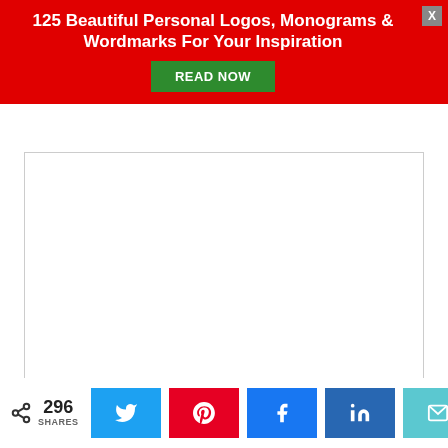[Figure (screenshot): Red promotional banner with white bold text '125 Beautiful Personal Logos, Monograms & Wordmarks For Your Inspiration', a green 'READ NOW' button, and a gray X close button in the top-right corner.]
[Figure (screenshot): A large empty textarea input field with a resize handle in the bottom-right corner.]
[Figure (screenshot): Text input field with placeholder 'Name (required)']
[Figure (screenshot): Text input field with placeholder 'Email (required)']
[Figure (screenshot): Text input field with placeholder 'Website']
[Figure (screenshot): Social sharing bar showing share icon with 296 SHARES count, and buttons for Twitter, Pinterest, Facebook, LinkedIn, and Email.]